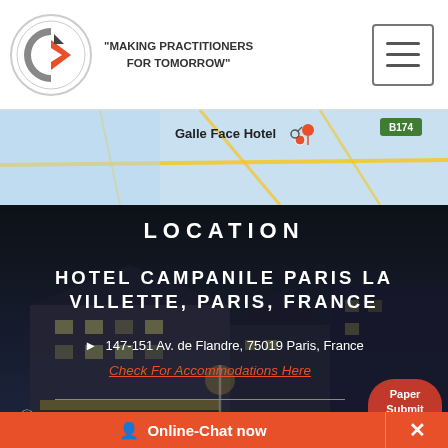[Figure (logo): Circular logo with letter C in red/grey color scheme, tagline MAKING PRACTITIONERS FOR TOMORROW]
[Figure (screenshot): Google Maps strip showing Galle Face Hotel marker, B240 and B174 road labels, Malabe area]
[Figure (photo): Dark nighttime photo of Hotel Campanile Paris La Villette building exterior]
LOCATION
HOTEL CAMPANILE PARIS LA VILLETTE, PARIS, FRANCE
147-151 Av. de Flandre, 75019 Paris, France
Check For Accommodations Here
About Sri Lanka  About Colombo
Paper Submit
Online-Chat now